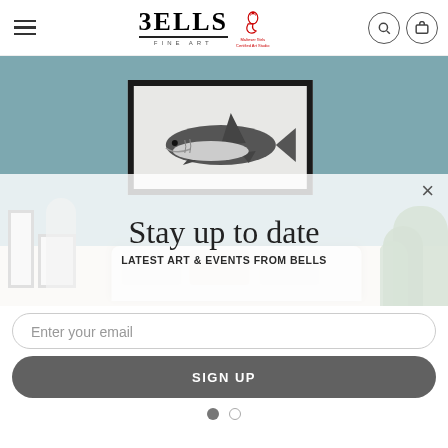BELLS FINE ART — navigation header with hamburger menu, logo, search and cart icons
[Figure (photo): Interior room scene with teal/blue-gray walls, framed shark artwork on wall, white sofa with cushions, potted green plant on right, framed artworks on left]
Stay up to date
LATEST ART & EVENTS FROM BELLS
Enter your email
SIGN UP